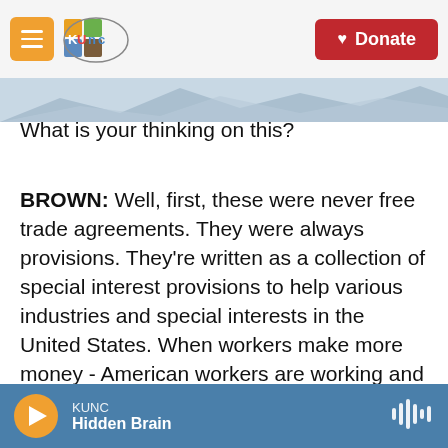KUNC — Donate
What is your thinking on this?
BROWN: Well, first, these were never free trade agreements. They were always provisions. They're written as a collection of special interest provisions to help various industries and special interests in the United States. When workers make more money - American workers are working and Mexican workers are working, boats all rise. And that's what these...
CORNISH: So higher prices are OK if everyone's making more money.
KUNC — Hidden Brain